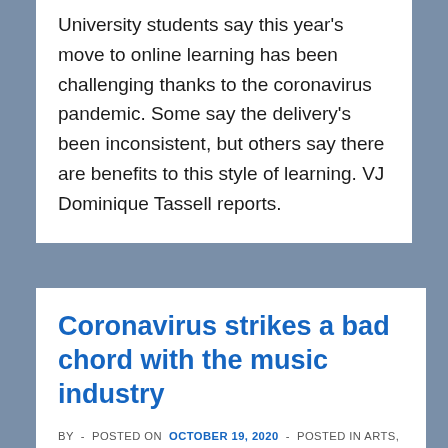University students say this year's move to online learning has been challenging thanks to the coronavirus pandemic. Some say the delivery's been inconsistent, but others say there are benefits to this style of learning. VJ Dominique Tassell reports.
Coronavirus strikes a bad chord with the music industry
BY - POSTED ON OCTOBER 19, 2020 - POSTED IN ARTS, CONSUMER, EMPLOYMENT, ENTERTAINMENT, HUMAN INTEREST, NATIONAL, NEWS, QUT NEWS, TELEVISION, WORLD